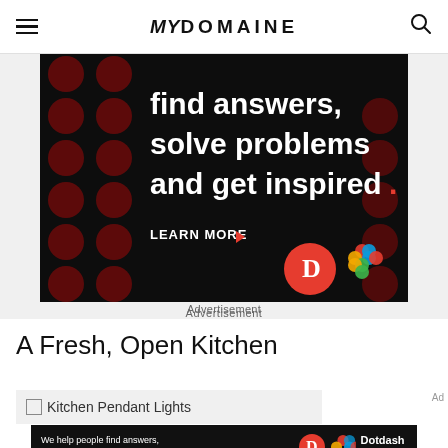MYDOMAINE
[Figure (screenshot): Advertisement banner with dark background and red dot pattern, white bold text reading 'find answers, solve problems and get inspired.' with a red period, 'LEARN MORE' button with red arrow, Dotdash D logo and Meredith logo]
Advertisement
A Fresh, Open Kitchen
Kitchen Pendant Lights
[Figure (screenshot): Small advertisement banner: We help people find answers, solve problems and get inspired. with Dotdash D logo and Dotdash meredith logo]